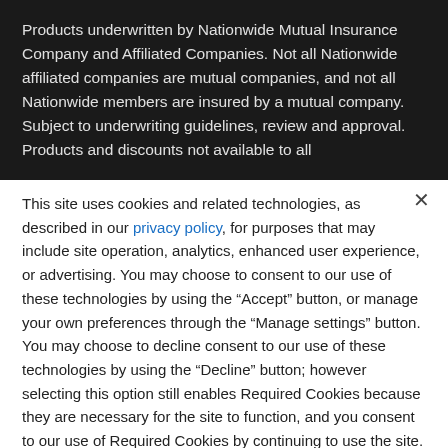Products underwritten by Nationwide Mutual Insurance Company and Affiliated Companies. Not all Nationwide affiliated companies are mutual companies, and not all Nationwide members are insured by a mutual company. Subject to underwriting guidelines, review and approval. Products and discounts not available to all
This site uses cookies and related technologies, as described in our privacy policy, for purposes that may include site operation, analytics, enhanced user experience, or advertising. You may choose to consent to our use of these technologies by using the “Accept” button, or manage your own preferences through the “Manage settings” button. You may choose to decline consent to our use of these technologies by using the “Decline” button; however selecting this option still enables Required Cookies because they are necessary for the site to function, and you consent to our use of Required Cookies by continuing to use the site.